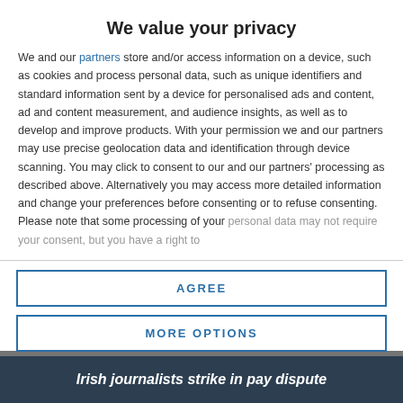We value your privacy
We and our partners store and/or access information on a device, such as cookies and process personal data, such as unique identifiers and standard information sent by a device for personalised ads and content, ad and content measurement, and audience insights, as well as to develop and improve products. With your permission we and our partners may use precise geolocation data and identification through device scanning. You may click to consent to our and our partners' processing as described above. Alternatively you may access more detailed information and change your preferences before consenting or to refuse consenting. Please note that some processing of your personal data may not require your consent, but you have a right to
AGREE
MORE OPTIONS
Irish journalists strike in pay dispute